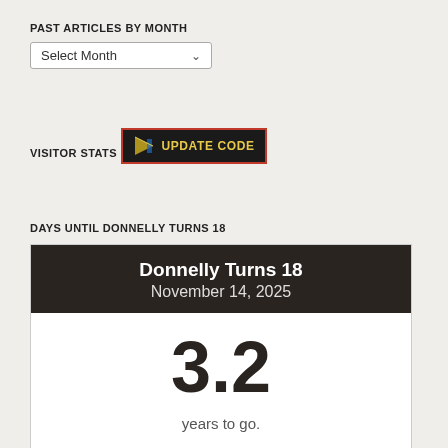PAST ARTICLES BY MONTH
Select Month
VISITOR STATS
UPDATE CODE
DAYS UNTIL DONNELLY TURNS 18
[Figure (infographic): Countdown widget showing 'Donnelly Turns 18', date November 14, 2025, with large number 3.2 and text 'years to go.']